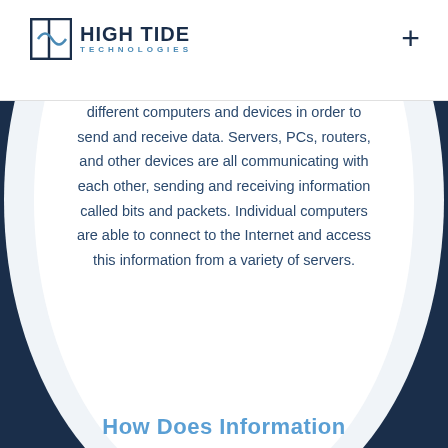HIGH TIDE TECHNOLOGIES
different computers and devices in order to send and receive data. Servers, PCs, routers, and other devices are all communicating with each other, sending and receiving information called bits and packets. Individual computers are able to connect to the Internet and access this information from a variety of servers.
How Does Information